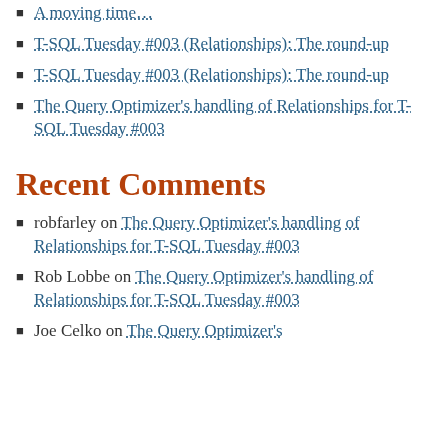A moving time…
T-SQL Tuesday #003 (Relationships): The round-up
T-SQL Tuesday #003 (Relationships): The round-up
The Query Optimizer's handling of Relationships for T-SQL Tuesday #003
Recent Comments
robfarley on The Query Optimizer's handling of Relationships for T-SQL Tuesday #003
Rob Lobbe on The Query Optimizer's handling of Relationships for T-SQL Tuesday #003
Joe Celko on The Query Optimizer's